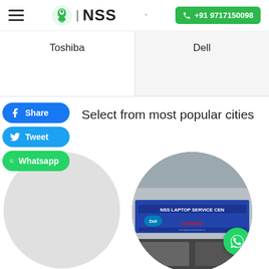NSS | +91 9717150098
Toshiba
Dell
Share
Tweet
Whatsapp
Select from most popular cities
[Figure (photo): Circular grey placeholder for a city]
[Figure (photo): Circular photo of NSS Laptop Service Center storefront sign showing Dell and Lenovo logos]